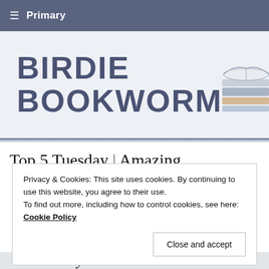≡  Primary
BIRDIE BOOKWORM
Top 5 Tuesday | Amazing
Privacy & Cookies: This site uses cookies. By continuing to use this website, you agree to their use.
To find out more, including how to control cookies, see here: Cookie Policy
Close and accept